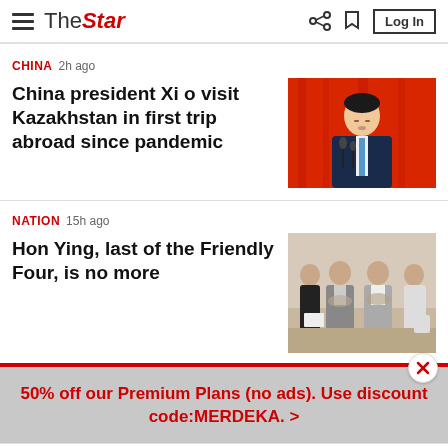The Star — Log In
CHINA  2h ago
China president Xi o visit Kazakhstan in first trip abroad since pandemic
[Figure (photo): Photo of Chinese President Xi Jinping speaking at a podium with red backdrop]
NATION  15h ago
Hon Ying, last of the Friendly Four, is no more
[Figure (photo): Black and white photo of a group of four people in formal attire]
50% off our Premium Plans (no ads).  Use discount code:MERDEKA. >
Home  For You  Bookmark  Audio  Search